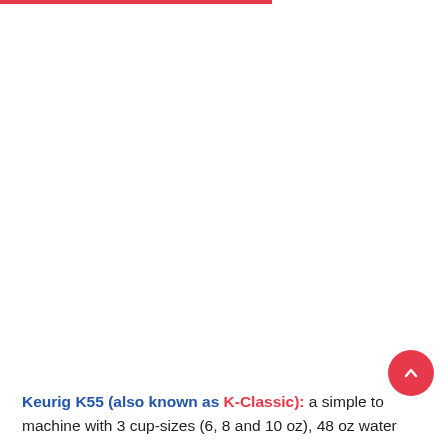Keurig K55 (also known as K-Classic): a simple to machine with 3 cup-sizes (6, 8 and 10 oz), 48 oz water